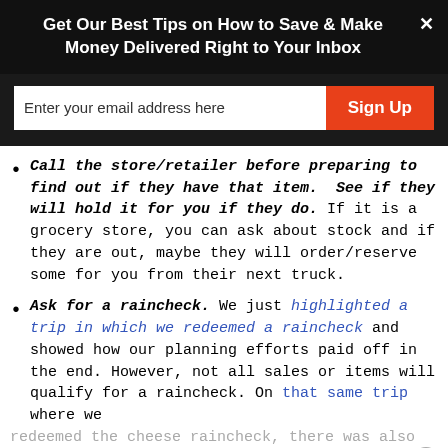Get Our Best Tips on How to Save & Make Money Delivered Right to Your Inbox
Enter your email address here [input field] Sign Up [button]
Call the store/retailer before preparing to find out if they have that item. See if they will hold it for you if they do. If it is a grocery store, you can ask about stock and if they are out, maybe they will order/reserve some for you from their next truck.
Ask for a raincheck. We just highlighted a trip in which we redeemed a raincheck and showed how our planning efforts paid off in the end. However, not all sales or items will qualify for a raincheck. On that same trip where we redeemed the cheese raincheck, there was also another hot item that we planned to get and